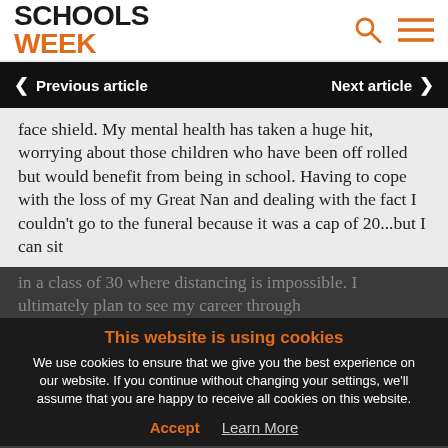SCHOOLS WEEK
Previous article   Next article
face shield. My mental health has taken a huge hit, worrying about those children who have been off rolled but would benefit from being in school. Having to cope with the loss of my Great Nan and dealing with the fact I couldn't go to the funeral because it was a cap of 20...but I can sit in a class of 30 where distancing is impossible. I ultimately plan to see my career through
This website is using cookies
We use cookies to ensure that we give you the best experience on our website. If you continue without changing your settings, we'll assume that you are happy to receive all cookies on this website.
Accept   Learn More
to be able to never redecorating work and free to fill my days with walks out and about. I NEED something to do desperately look forward to, after two very difficult terms, but at the